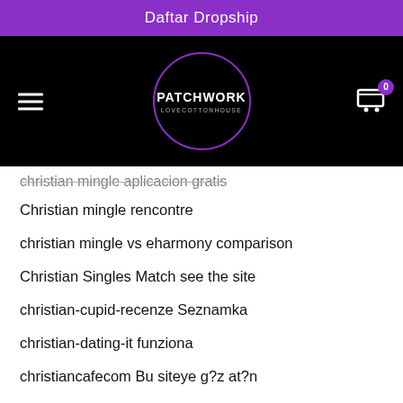Daftar Dropship
[Figure (logo): Patchwork LoveCottonHouse logo in a purple circle on black navigation bar with hamburger menu and shopping cart icon]
christian mingle aplicacion gratis
Christian mingle rencontre
christian mingle vs eharmony comparison
Christian Singles Match see the site
christian-cupid-recenze Seznamka
christian-dating-it funziona
christiancafecom Bu siteye g?z at?n
christianconnection adult dating
christian connection...